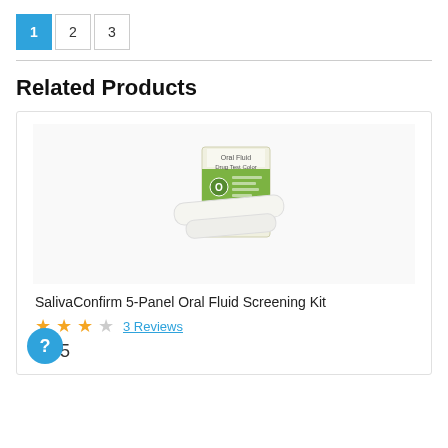1 2 3
Related Products
[Figure (photo): SalivaConfirm 5-Panel Oral Fluid Drug Test Color product box with swab/collection device shown in front]
SalivaConfirm 5-Panel Oral Fluid Screening Kit
★★★☆ 3 Reviews
$8.95